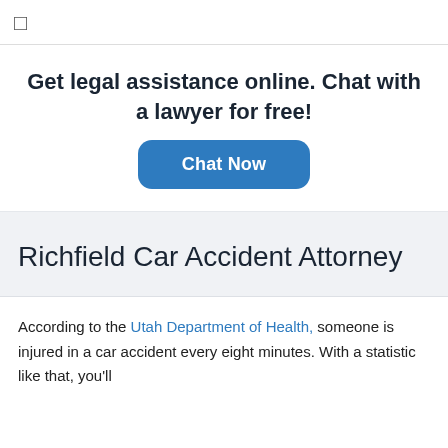[Figure (other): Menu/hamburger icon in top navigation bar]
Get legal assistance online. Chat with a lawyer for free!
[Figure (other): Blue 'Chat Now' button]
Richfield Car Accident Attorney
According to the Utah Department of Health, someone is injured in a car accident every eight minutes. With a statistic like that, you'll